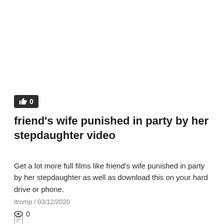[Figure (other): Like button with thumbs up icon showing count 0 on dark background]
friend's wife punished in party by her stepdaughter video
Get a lot more full films like friend's wife punished in party by her stepdaughter as well as download this on your hard drive or phone.
itromp  /  03/12/2020
0